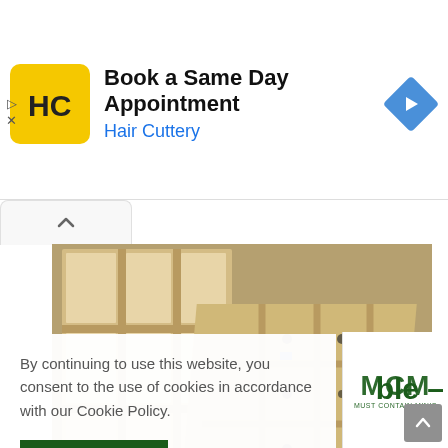[Figure (screenshot): Advertisement banner for Hair Cuttery with logo, text 'Book a Same Day Appointment', blue subtitle 'Hair Cuttery', and blue diamond navigation arrow icon on right]
[Figure (photo): Wooden grid/shelf frames being assembled on a workbench in a workshop]
[Figure (logo): MCM logo in green letters with small text below reading 'MUST CONTAIN MINIS']
By continuing to use this website, you consent to the use of cookies in accordance with our Cookie Policy.
ACCEPT
ble –